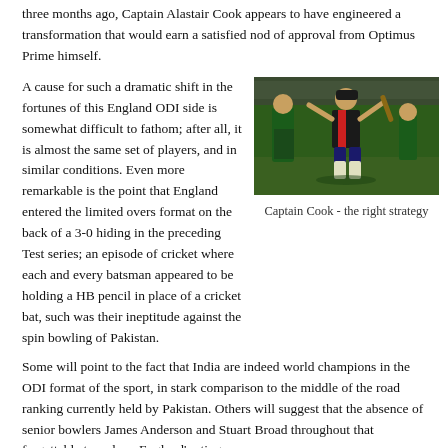three months ago, Captain Alastair Cook appears to have engineered a transformation that would earn a satisfied nod of approval from Optimus Prime himself.
A cause for such a dramatic shift in the fortunes of this England ODI side is somewhat difficult to fathom; after all, it is almost the same set of players, and in similar conditions. Even more remarkable is the point that England entered the limited overs format on the back of a 3-0 hiding in the preceding Test series; an episode of cricket where each and every batsman appeared to be holding a HB pencil in place of a cricket bat, such was their ineptitude against the spin bowling of Pakistan.
[Figure (photo): Cricket player (Captain Cook) in England kit with arms raised, with Pakistani players in green in the background on a cricket ground]
Captain Cook - the right strategy
Some will point to the fact that India are indeed world champions in the ODI format of the sport, in stark comparison to the middle of the road ranking currently held by Pakistan. Others will suggest that the absence of senior bowlers James Anderson and Stuart Broad throughout that forgettable tour drew England's sting.